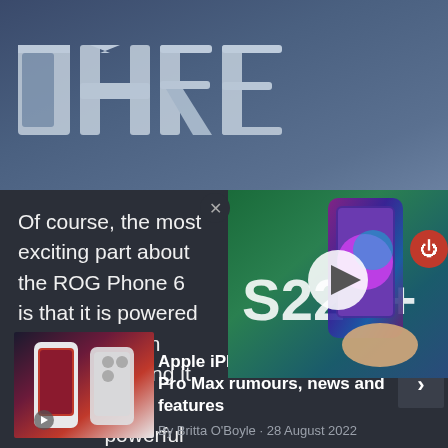[Figure (photo): Hero image showing 'DARE' text in large 3D block letters on a dark blue/grey surface, possibly a gaming phone or device promotional image]
Of course, the most exciting part about the ROG Phone 6 is that it is powered by Snapdragon Gen 1 - meaning it should be one of the most powerful Android phones in the world.
[Figure (screenshot): Video overlay thumbnail showing Samsung Galaxy S22+ promotional content with a hand holding a colorful phone, with a play button in the center]
[Figure (photo): Thumbnail image of Apple iPhone 14 Pro showing red and white coloured phone]
Apple iPhone 14 Pro and 14 Pro Max rumours, news and features
By Britta O'Boyle · 28 August 2022